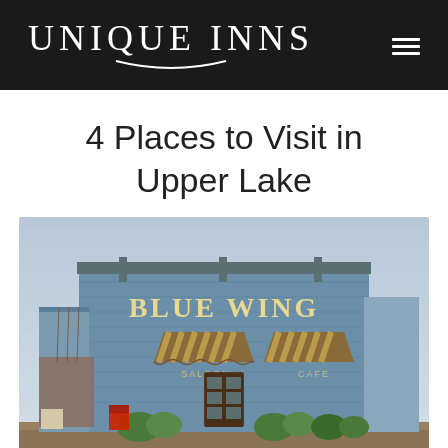UNIQUE INNS
4 Places to Visit in Upper Lake
[Figure (photo): Exterior photo of the Blue Wing Saloon and Cafe, a blue-painted wooden building with brown and tan striped awnings over the entrance, with potted plants and flowers in front, overcast sky in background.]